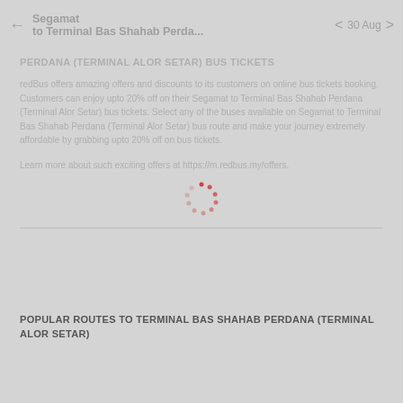Segamat to Terminal Bas Shahab Perda... | 30 Aug
PERDANA (TERMINAL ALOR SETAR) BUS TICKETS
redBus offers amazing offers and discounts to its customers on online bus tickets booking. Customers can enjoy upto 20% off on their Segamat to Terminal Bas Shahab Perdana (Terminal Alor Setar) bus tickets. Select any of the buses available on Segamat to Terminal Bas Shahab Perdana (Terminal Alor Setar) bus route and make your journey extremely affordable by grabbing upto 20% off on bus tickets.
Learn more about such exciting offers at https://m.redbus.my/offers.
[Figure (other): Loading spinner animation — dotted circle of red dots]
POPULAR ROUTES TO TERMINAL BAS SHAHAB PERDANA (TERMINAL ALOR SETAR)